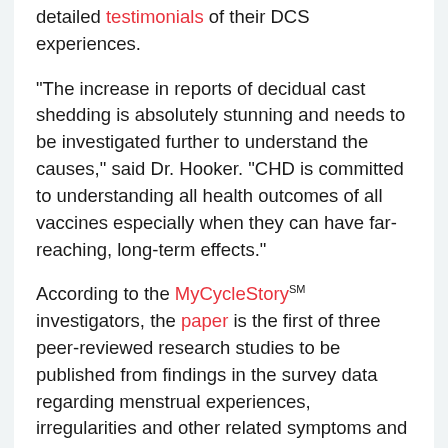detailed testimonials of their DCS experiences.
“The increase in reports of decidual cast shedding is absolutely stunning and needs to be investigated further to understand the causes,” said Dr. Hooker. “CHD is committed to understanding all health outcomes of all vaccines especially when they can have far-reaching, long-term effects.”
According to the MyCycleStorySM investigators, the paper is the first of three peer-reviewed research studies to be published from findings in the survey data regarding menstrual experiences, irregularities and other related symptoms and the possible effects of the distribution of the Covid vaccines.